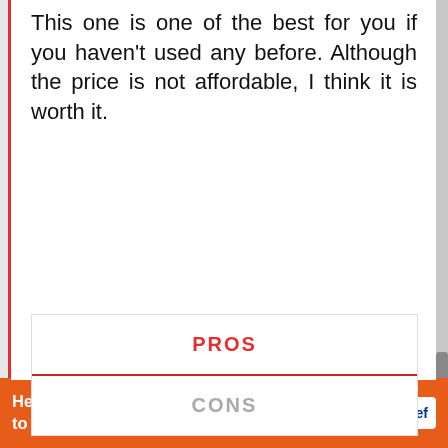This one is one of the best for you if you haven't used any before. Although the price is not affordable, I think it is worth it.
| PROS | CONS |
| --- | --- |
Things We Liked:
Attractive and classy look
Help send medical aid to Ukraine >>